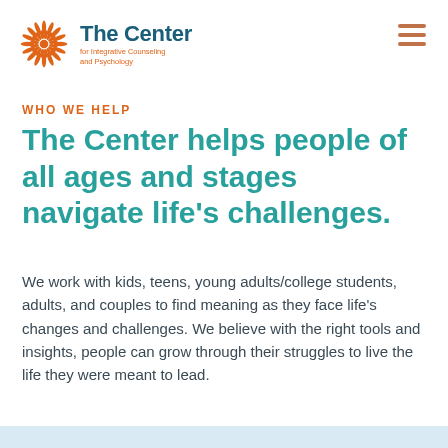The Center for Integrative Counseling and Psychology
WHO WE HELP
The Center helps people of all ages and stages navigate life’s challenges.
We work with kids, teens, young adults/college students, adults, and couples to find meaning as they face life’s changes and challenges. We believe with the right tools and insights, people can grow through their struggles to live the life they were meant to lead.